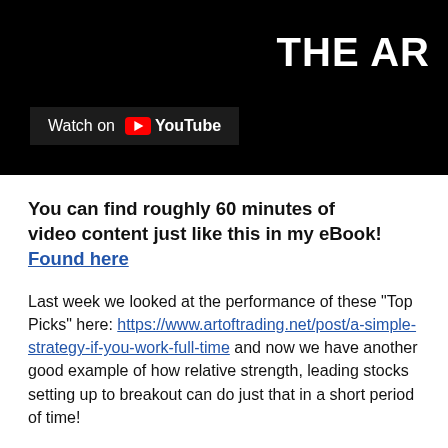[Figure (screenshot): YouTube video thumbnail banner with black background, 'Watch on YouTube' button overlay, and partial 'THE AR' text visible in white on the right side]
You can find roughly 60 minutes of video content just like this in my eBook! Found here
Last week we looked at the performance of these "Top Picks" here: https://www.artoftrading.net/post/a-simple-strategy-if-you-work-full-time and now we have another good example of how relative strength, leading stocks setting up to breakout can do just that in a short period of time!